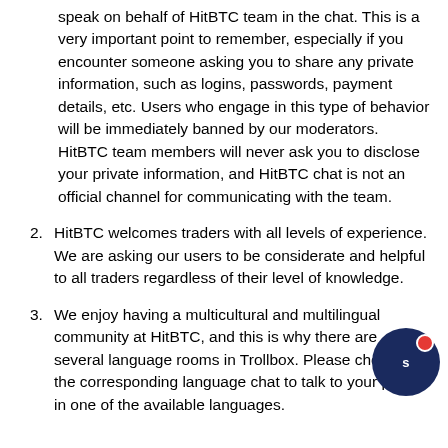speak on behalf of HitBTC team in the chat. This is a very important point to remember, especially if you encounter someone asking you to share any private information, such as logins, passwords, payment details, etc. Users who engage in this type of behavior will be immediately banned by our moderators. HitBTC team members will never ask you to disclose your private information, and HitBTC chat is not an official channel for communicating with the team.
2. HitBTC welcomes traders with all levels of experience. We are asking our users to be considerate and helpful to all traders regardless of their level of knowledge.
3. We enjoy having a multicultural and multilingual community at HitBTC, and this is why there are several language rooms in Trollbox. Please choose the corresponding language chat to talk to your peers in one of the available languages.